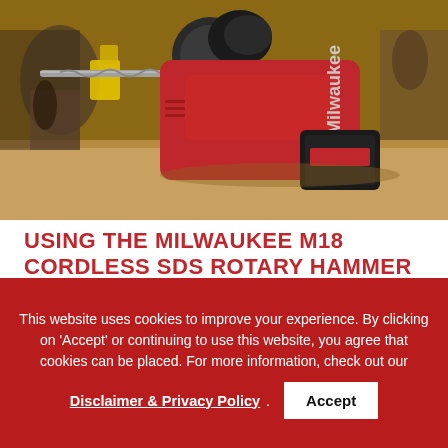[Figure (photo): Close-up photo of a Milwaukee M18 cordless SDS rotary hammer drill on a wooden workbench, showing red body with Milwaukee branding, drill bit inserted, in a workshop setting.]
USING THE MILWAUKEE M18 CORDLESS SDS ROTARY HAMMER 2712-22
The 2712-22 is compact and light but powerful. I used it to drill a series of 3/8-inch holes in a 20-year-old, poured concrete foundation
This website uses cookies to improve your experience. By clicking on 'Accept' or continuing to use this website, you agree that cookies can be placed. For more information, check out our
Disclaimer & Privacy Policy . Accept